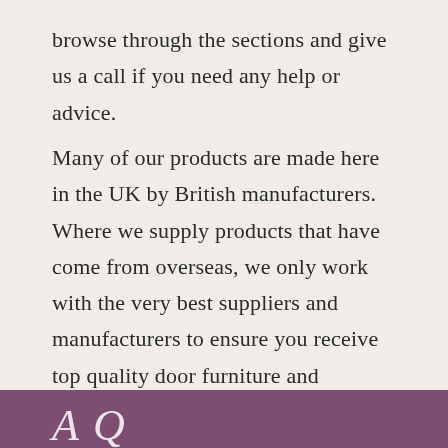browse through the sections and give us a call if you need any help or advice.
Many of our products are made here in the UK by British manufacturers. Where we supply products that have come from overseas, we only work with the very best suppliers and manufacturers to ensure you receive top quality door furniture and accessories.
[Figure (other): Purple/mauve banner at bottom of page with partial italic text visible]